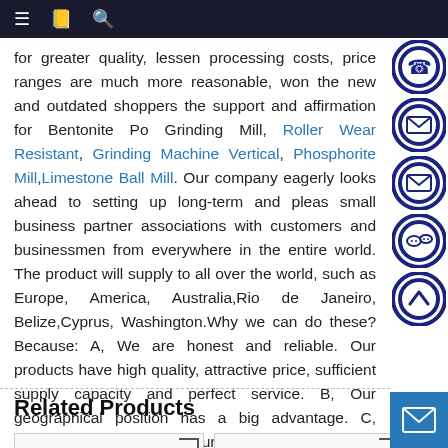Navigation bar with menu, bookmark, and search icons
for greater quality, lessen processing costs, price ranges are much more reasonable, won the new and outdated shoppers the support and affirmation for Bentonite Po Grinding Mill, Roller Wear Resistant, Grinding Machine Vertical, Phosphorite Mill,Limestone Ball Mill. Our company eagerly looks ahead to setting up long-term and pleas small business partner associations with customers and businessmen from everywhere in the entire world. The product will supply to all over the world, such as Europe, America, Australia,Rio de Janeiro, Belize,Cyprus, Washington.Why we can do these? Because: A, We are honest and reliable. Our products have high quality, attractive price, sufficient supply capacity and perfect service. B, Our geographical position has a big advantage. C, Various types: Welcome your inquiry, It will be highly appreciated.
Related Products